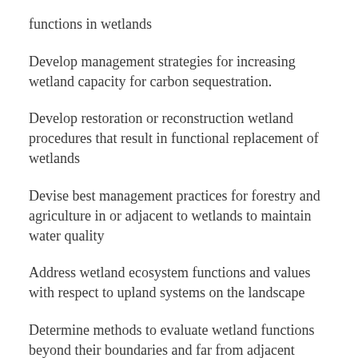functions in wetlands
Develop management strategies for increasing wetland capacity for carbon sequestration.
Develop restoration or reconstruction wetland procedures that result in functional replacement of wetlands
Devise best management practices for forestry and agriculture in or adjacent to wetlands to maintain water quality
Address wetland ecosystem functions and values with respect to upland systems on the landscape
Determine methods to evaluate wetland functions beyond their boundaries and far from adjacent landscapes